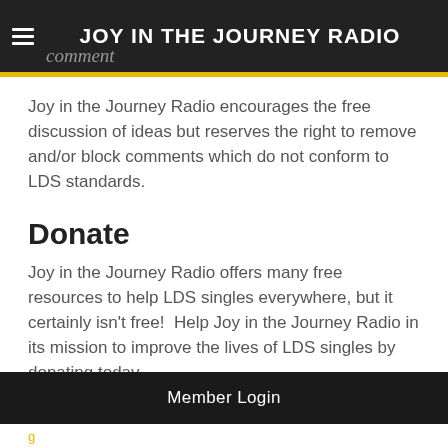JOY IN THE JOURNEY RADIO
Joy in the Journey Radio encourages the free discussion of ideas but reserves the right to remove and/or block comments which do not conform to LDS standards.
Donate
Joy in the Journey Radio offers many free resources to help LDS singles everywhere, but it certainly isn't free!  Help Joy in the Journey Radio in its mission to improve the lives of LDS singles by donating today.
[Figure (other): Yellow PayPal Donate button]
Member Login